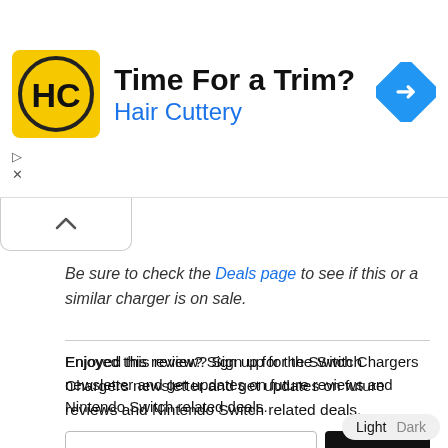[Figure (infographic): Hair Cuttery advertisement banner with yellow HC logo, 'Time For a Trim?' headline, 'Hair Cuttery' subtitle in blue, and a blue diamond navigation arrow icon on the right]
Be sure to check the Deals page to see if this or a similar charger is on sale.
Enjoyed this review? Sign up for the Switch Chargers newsletter and get updates on future reviews and Nintendo Switch related deals.
Share this: